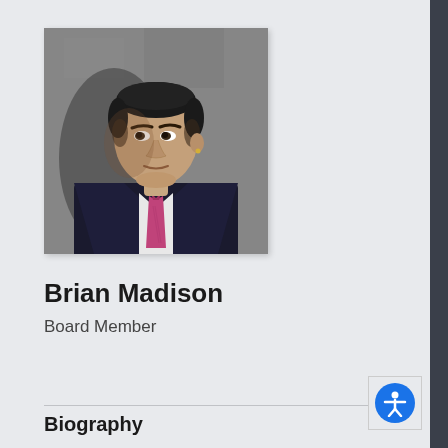[Figure (photo): Headshot of Brian Madison, a man in a dark suit with a pink/magenta tie, white dress shirt, short dark hair, looking to the left, photographed against a concrete/stone wall background with shadow.]
Brian Madison
Board Member
Biography